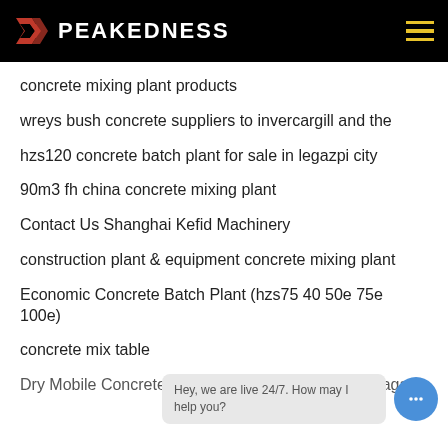PEAKEDNESS
concrete mixing plant products
wreys bush concrete suppliers to invercargill and the
hzs120 concrete batch plant for sale in legazpi city
90m3 fh china concrete mixing plant
Contact Us Shanghai Kefid Machinery
construction plant & equipment concrete mixing plant
Economic Concrete Batch Plant (hzs75 40 50e 75e 100e)
concrete mix table
Dry Mobile Concrete Batch Plant Brochure Vince Hagan